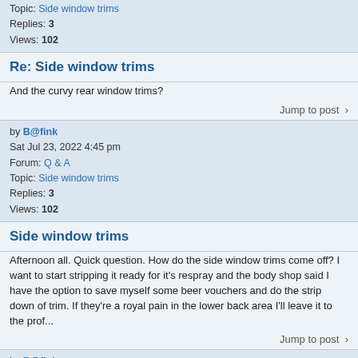Topic: Side window trims
Replies: 3
Views: 102
Re: Side window trims
And the curvy rear window trims?
Jump to post >
by B@fink
Sat Jul 23, 2022 4:45 pm
Forum: Q & A
Topic: Side window trims
Replies: 3
Views: 102
Side window trims
Afternoon all. Quick question. How do the side window trims come off? I want to start stripping it ready for it's respray and the body shop said I have the option to save myself some beer vouchers and do the strip down of trim. If they're a royal pain in the lower back area I'll leave it to the prof...
Jump to post >
by B@fink
Sun Jun 26, 2022 8:10 pm
Forum: Projects and Restorations
Topic: FORD CAPRI 3.0S RESTORATION
Replies: 61
Views: 7478